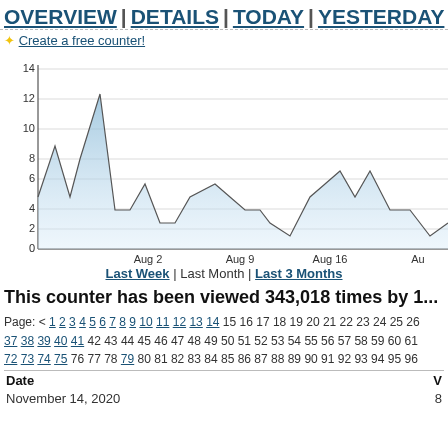OVERVIEW | DETAILS | TODAY | YESTERDAY
✦ Create a free counter!
[Figure (area-chart): Visits over time]
Last Week | Last Month | Last 3 Months
This counter has been viewed 343,018 times by 1...
Page: < 1 2 3 4 5 6 7 8 9 10 11 12 13 14 15 16 17 18 19 20 21 22 23 24 25 26 37 38 39 40 41 42 43 44 45 46 47 48 49 50 51 52 53 54 55 56 57 58 59 60 61 72 73 74 75 76 77 78 79 80 81 82 83 84 85 86 87 88 89 90 91 92 93 94 95 96
| Date | V |
| --- | --- |
| November 14, 2020 | 8 |